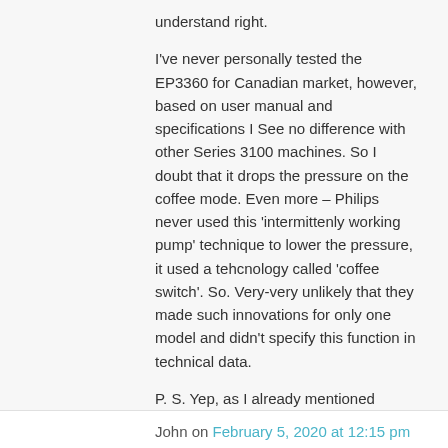understand right.

I've never personally tested the EP3360 for Canadian market, however, based on user manual and specifications I See no difference with other Series 3100 machines. So I doubt that it drops the pressure on the coffee mode. Even more – Philips never used this 'intermittenly working pump' technique to lower the pressure, it used a tehcnology called 'coffee switch'. So. Very-very unlikely that they made such innovations for only one model and didn't specify this function in technical data.

P. S. Yep, as I already mentioned somewehre in my reviews, I also find it to be bizzare: both Delonghi and Philips/Saeco/Gaggia introduce American coffee function only in Europe, not in America… Probably they want to protect their drip coffee makers market share?
↳ Reply
John on February 5, 2020 at 12:15 pm